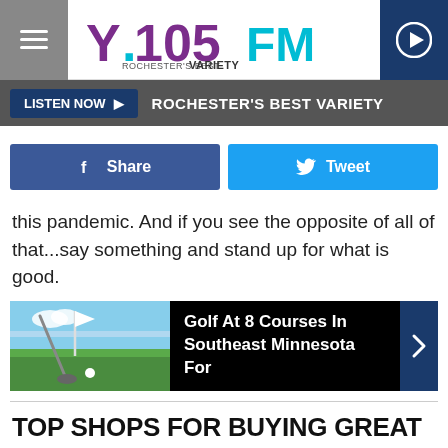Y.105FM ROCHESTER'S BEST VARIETY
[Figure (logo): Y.105FM Rochester's Best Variety logo with purple and teal lettering]
LISTEN NOW ▶  ROCHESTER'S BEST VARIETY
[Figure (infographic): Facebook Share button and Twitter Tweet button row]
this pandemic.  And if you see the opposite of all of that...say something and stand up for what is good.
[Figure (photo): Golf course promo card: Golf At 8 Courses In Southeast Minnesota For]
TOP SHOPS FOR BUYING GREAT AND UNUSUAL GIFTS IN THE ROCHESTER, MINNESOTA AREA